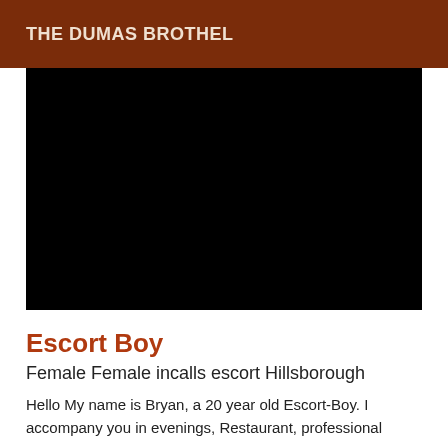THE DUMAS BROTHEL
[Figure (photo): Large black image placeholder filling the main content area]
Escort Boy
Female Female incalls escort Hillsborough
Hello My name is Bryan, a 20 year old Escort-Boy. I accompany you in evenings, Restaurant, professional